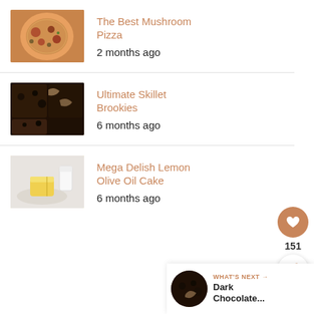[Figure (photo): Mushroom pizza on a white plate viewed from above]
The Best Mushroom Pizza
2 months ago
[Figure (photo): Dark chocolate brookies in a skillet, close-up]
Ultimate Skillet Brookies
6 months ago
[Figure (photo): Lemon olive oil cake slice on a plate with a glass of milk]
Mega Delish Lemon Olive Oil Cake
6 months ago
151
WHAT'S NEXT → Dark Chocolate...